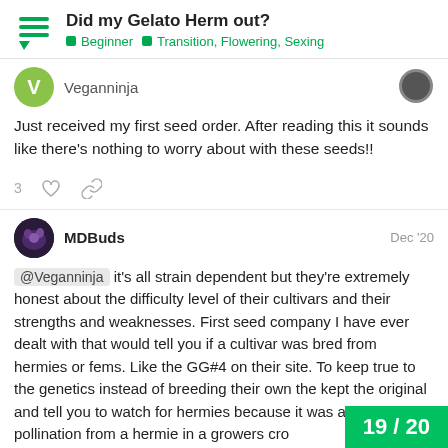Did my Gelato Herm out? | Beginner > Transition, Flowering, Sexing
Veganninja
Just received my first seed order. After reading this it sounds like there's nothing to worry about with these seeds!!
MDBuds Dec '20
@Veganninja it's all strain dependent but they're extremely honest about the difficulty level of their cultivars and their strengths and weaknesses. First seed company I have ever dealt with that would tell you if a cultivar was bred from hermies or fems. Like the GG#4 on their site. To keep true to the genetics instead of breeding their own the kept the original and tell you to watch for hermies because it was an accidental pollination from a hermie in a growers cro
19 / 20